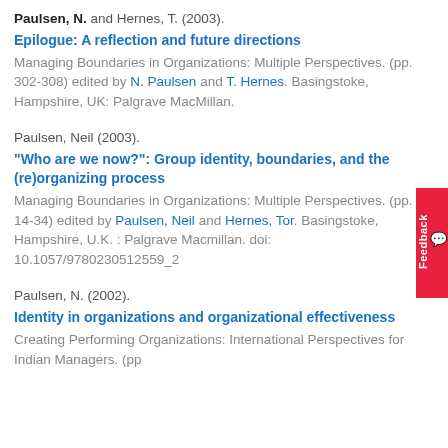Paulsen, N. and Hernes, T. (2003). Epilogue: A reflection and future directions. Managing Boundaries in Organizations: Multiple Perspectives. (pp. 302-308) edited by N. Paulsen and T. Hernes. Basingstoke, Hampshire, UK: Palgrave MacMillan.
Paulsen, Neil (2003). "Who are we now?": Group identity, boundaries, and the (re)organizing process. Managing Boundaries in Organizations: Multiple Perspectives. (pp. 14-34) edited by Paulsen, Neil and Hernes, Tor. Basingstoke, Hampshire, U.K. : Palgrave Macmillan. doi: 10.1057/9780230512559_2
Paulsen, N. (2002). Identity in organizations and organizational effectiveness. Creating Performing Organizations: International Perspectives for Indian Managers. (pp